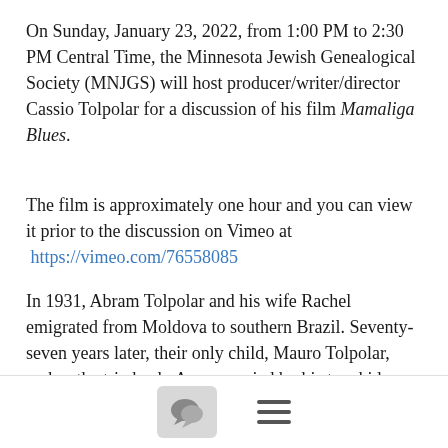On Sunday, January 23, 2022, from 1:00 PM to 2:30 PM Central Time, the Minnesota Jewish Genealogical Society (MNJGS) will host producer/writer/director Cassio Tolpolar for a discussion of his film Mamaliga Blues.
The film is approximately one hour and you can view it prior to the discussion on Vimeo at  https://vimeo.com/76558085
In 1931, Abram Tolpolar and his wife Rachel emigrated from Moldova to southern Brazil. Seventy-seven years later, their only child, Mauro Tolpolar, makes the trip back. Accompanied by his two kids, who never knew their grandparents, Mauro visits his parents' birthplace and also finds clues to an unrevealed past. Having as a starting point only one remaining photograph of a lost grave, the Tolpolars drive through ancient